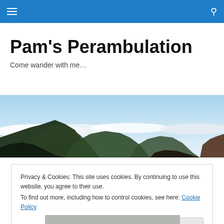Navigation bar with hamburger menu and search icon
Pam's Perambulation
Come wander with me…
[Figure (photo): Panoramic mountain landscape with clouds and blue sky, mountains with green vegetation rising above a cloud layer]
Privacy & Cookies: This site uses cookies. By continuing to use this website, you agree to their use.
To find out more, including how to control cookies, see here: Cookie Policy

Close and accept